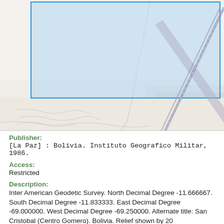[Figure (map): A topographic/geographic map excerpt showing a light blue highlighted rectangular bounding box area over a light-colored terrain map. A diagonal road or railway runs from upper-right to lower-right. Some subtle terrain contours and road/river lines are visible. The highlighted region is outlined in blue.]
Publisher:
[La Paz] : Bolivia. Instituto Geografico Militar, 1986.
Access:
Restricted
Description:
Inter American Geodetic Survey. North Decimal Degree -11.666667. South Decimal Degree -11.833333. East Decimal Degree -69.000000. West Decimal Degree -69.250000. Alternate title: San Cristobal (Centro Gomero). Bolivia. Relief shown by 20